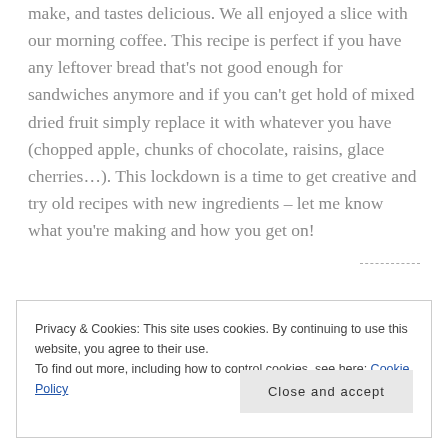make, and tastes delicious. We all enjoyed a slice with our morning coffee. This recipe is perfect if you have any leftover bread that's not good enough for sandwiches anymore and if you can't get hold of mixed dried fruit simply replace it with whatever you have (chopped apple, chunks of chocolate, raisins, glace cherries…). This lockdown is a time to get creative and try old recipes with new ingredients – let me know what you're making and how you get on!
Privacy & Cookies: This site uses cookies. By continuing to use this website, you agree to their use. To find out more, including how to control cookies, see here: Cookie Policy